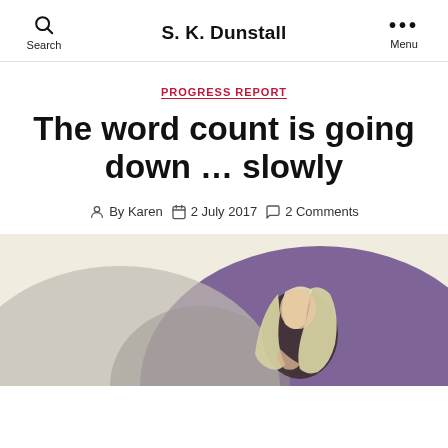Search  S. K. Dunstall  Menu
PROGRESS REPORT
The word count is going down … slowly
By Karen  2 July 2017  2 Comments
[Figure (illustration): Manga/comic-style illustration of a figure with long light hair, sitting or crouching against a purple and gray background with large rounded shapes]